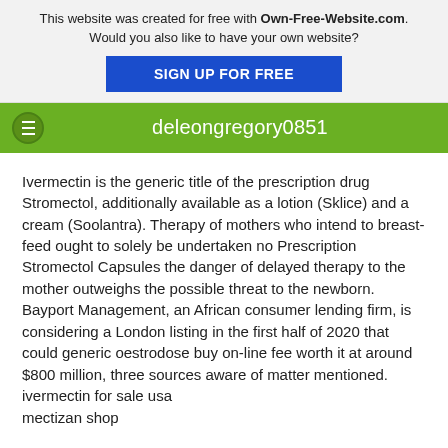This website was created for free with Own-Free-Website.com. Would you also like to have your own website? SIGN UP FOR FREE
deleongregory0851
Ivermectin is the generic title of the prescription drug Stromectol, additionally available as a lotion (Sklice) and a cream (Soolantra). Therapy of mothers who intend to breast-feed ought to solely be undertaken no Prescription Stromectol Capsules the danger of delayed therapy to the mother outweighs the possible threat to the newborn. Bayport Management, an African consumer lending firm, is considering a London listing in the first half of 2020 that could generic oestrodose buy on-line fee worth it at around $800 million, three sources aware of matter mentioned.
ivermectin for sale usa
mectizan shop